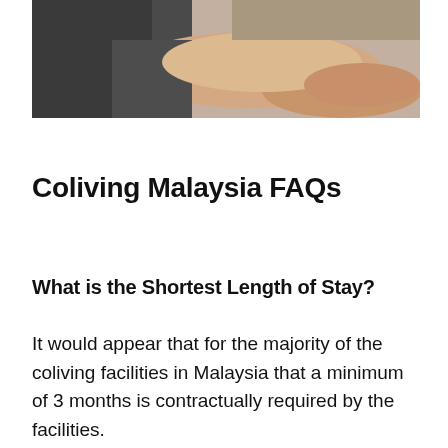[Figure (photo): Partial photo showing a person's arm and body resting, wearing a dark grey t-shirt, soft natural lighting]
Coliving Malaysia FAQs
What is the Shortest Length of Stay?
It would appear that for the majority of the coliving facilities in Malaysia that a minimum of 3 months is contractually required by the facilities.